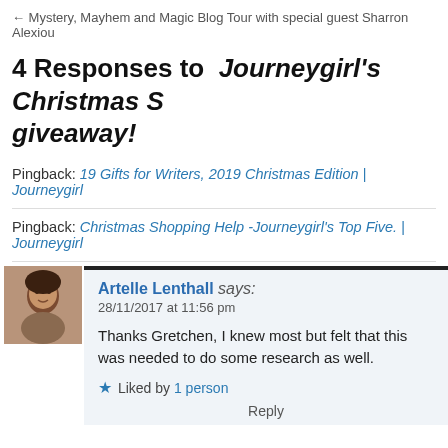← Mystery, Mayhem and Magic Blog Tour with special guest Sharron Alexiou
4 Responses to Journeygirl's Christmas S… giveaway!
Pingback: 19 Gifts for Writers, 2019 Christmas Edition | Journeygirl
Pingback: Christmas Shopping Help -Journeygirl's Top Five. | Journeygirl
Artelle Lenthall says:
28/11/2017 at 11:56 pm

Thanks Gretchen, I knew most but felt that this was needed to do some research as well.

Liked by 1 person

Reply